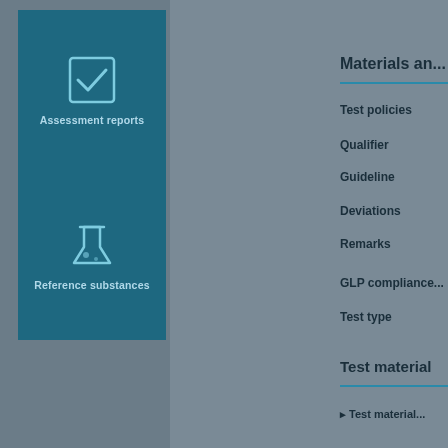[Figure (illustration): Teal box with checkmark icon and label 'Assessment reports']
[Figure (illustration): Teal box with flask/beaker icon and label 'Reference substances']
Materials an...
Test policies
Qualifier
Guideline
Deviations
Remarks
GLP compliance
Test type
Test material
Test material...